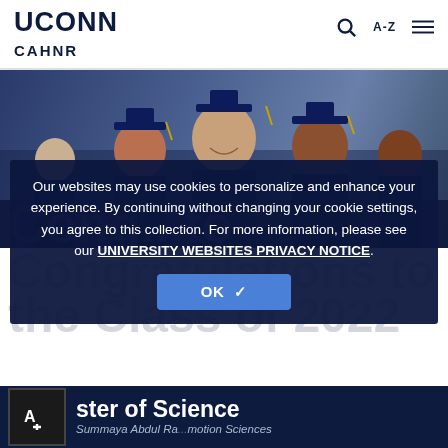UCONN CAHNR
[Figure (photo): Group of university graduates in navy blue caps and gowns smiling at a graduation ceremony]
Our websites may use cookies to personalize and enhance your experience. By continuing without changing your cookie settings, you agree to this collection. For more information, please see our UNIVERSITY WEBSITES PRIVACY NOTICE.
Congratulations to the Class of 2022
Master of Science
Summaya Abdul Ra... motion Sciences